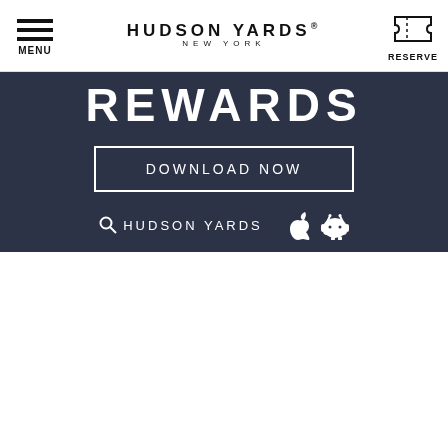MENU | HUDSON YARDS NEW YORK | RESERVE
REWARDS
DOWNLOAD NOW
HUDSON YARDS